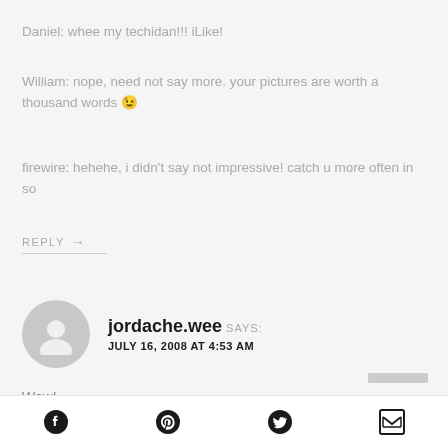Daniel: whee my techidan!!! iLike!
William: nope, need not say more. your pictures are worth a thousand words 😉
firewire: hehehe, i didn't say not impressive! catch u more often in so
REPLY →
jordache.wee SAYS: JULY 16, 2008 AT 4:53 AM
Wow!
REPLY →